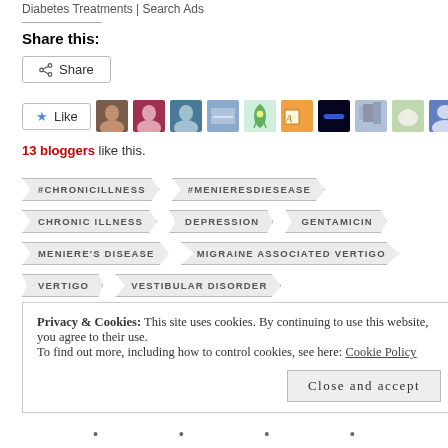Diabetes Treatments | Search Ads
Share this:
Share
[Figure (other): Like button with star icon and row of 9 blogger avatar thumbnails]
13 bloggers like this.
#CHRONICILLNESS
#MENIERESDIESEASE
CHRONIC ILLNESS
DEPRESSION
GENTAMICIN
MENIERE'S DISEASE
MIGRAINE ASSOCIATED VERTIGO
VERTIGO
VESTIBULAR DISORDER
Privacy & Cookies: This site uses cookies. By continuing to use this website, you agree to their use. To find out more, including how to control cookies, see here: Cookie Policy
Close and accept